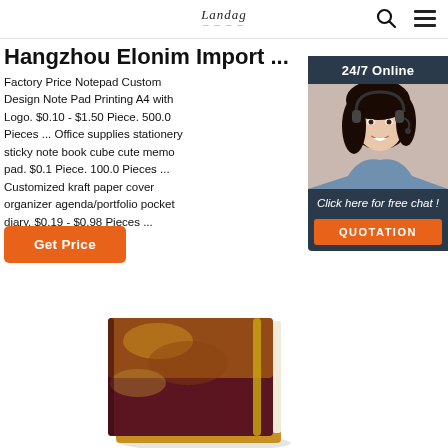Landag
Hangzhou Elonim Import ...
Factory Price Notepad Custom Design Note Pad Printing A4 with Logo. $0.10 - $1.50 Piece. 500.0 Pieces ... Office supplies stationery sticky note book cube cute memo pad. $0.1 Piece. 100.0 Pieces ... Customized kraft paper cover organizer agenda/portfolio pocket diary. $0.19 - $0.98 Pieces ...
[Figure (infographic): 24/7 Online chat widget with a woman wearing a headset, blue uniform, dark background. Includes 'Click here for free chat!' text and an orange QUOTATION button.]
Get Price
[Figure (photo): A dark red/maroon notebook with gold textured cover, an elastic band closure, viewed at an angle from the top.]